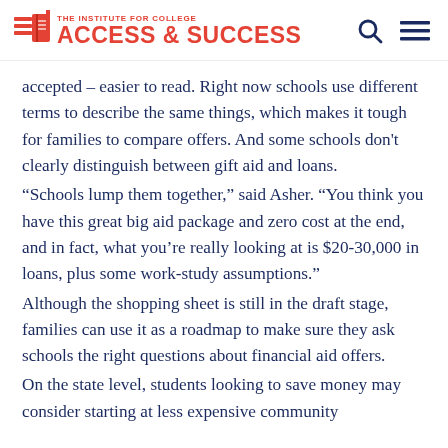THE INSTITUTE FOR COLLEGE ACCESS & SUCCESS
accepted – easier to read. Right now schools use different terms to describe the same things, which makes it tough for families to compare offers. And some schools don't clearly distinguish between gift aid and loans.
“Schools lump them together,” said Asher. “You think you have this great big aid package and zero cost at the end, and in fact, what you’re really looking at is $20-30,000 in loans, plus some work-study assumptions.”
Although the shopping sheet is still in the draft stage, families can use it as a roadmap to make sure they ask schools the right questions about financial aid offers.
On the state level, students looking to save money may consider starting at less expensive community